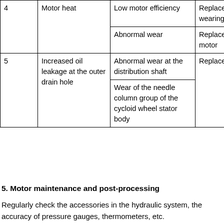|  |  |  |  |
| --- | --- | --- | --- |
| 4 | Motor heat | Low motor efficiency | Replace wearing parts |
|  |  | Abnormal wear | Replace the motor |
| 5 | Increased oil leakage at the outer drain hole | Abnormal wear at the distribution shaft | Replace parts |
|  |  | Wear of the needle column group of the cycloid wheel stator body |  |
5. Motor maintenance and post-processing
Regularly check the accessories in the hydraulic system, the accuracy of pressure gauges, thermometers, etc.